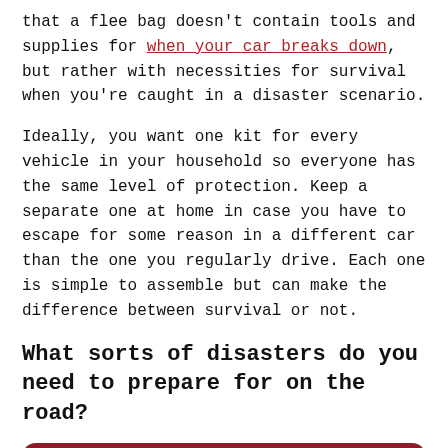that a flee bag doesn't contain tools and supplies for when your car breaks down, but rather with necessities for survival when you're caught in a disaster scenario.
Ideally, you want one kit for every vehicle in your household so everyone has the same level of protection. Keep a separate one at home in case you have to escape for some reason in a different car than the one you regularly drive. Each one is simple to assemble but can make the difference between survival or not.
What sorts of disasters do you need to prepare for on the road?
Call a Tow Truck Near You
something else, the threat of a natural disaster is all